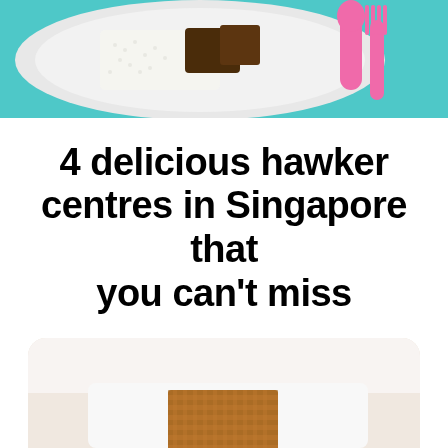[Figure (photo): Top portion of a photo showing a white plate with white rice and a dark sauce/meat dish, on a teal/turquoise background, with pink plastic cutlery (spoon and fork) on the right side]
4 delicious hawker centres in Singapore that you can't miss
[Figure (photo): Bottom portion showing a white Swiss roll cake with a brown/cocoa textured square pattern on top, on a light wooden surface with a white background]